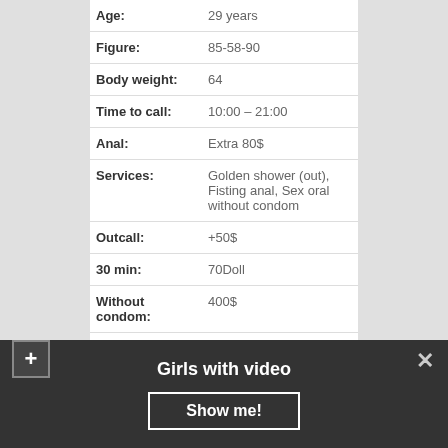| Field | Value |
| --- | --- |
| Age: | 29 years |
| Figure: | 85-58-90 |
| Body weight: | 64 |
| Time to call: | 10:00 – 21:00 |
| Anal: | Extra 80$ |
| Services: | Golden shower (out), Fisting anal, Sex oral without condom |
| Outcall: | +50$ |
| 30 min: | 70Doll |
| Without condom: | 400$ |
| Origin: | Moldovan |
Girls with video
Show me!